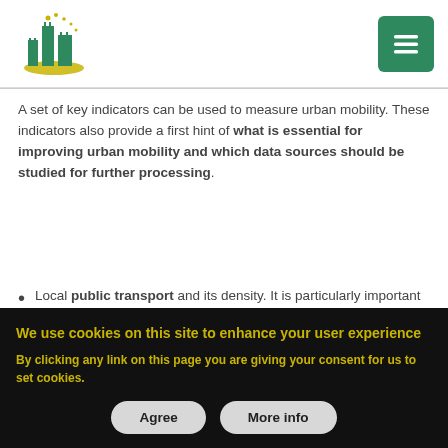[Figure (logo): Urban mobility logo with stylized city/building icon in green and yellow]
[Figure (other): Green hamburger menu button (three horizontal lines icon)]
A set of key indicators can be used to measure urban mobility. These indicators also provide a first hint of what is essential for improving urban mobility and which data sources should be studied for further processing.
Local public transport and its density. It is particularly important for cities that not every citizen
We use cookies on this site to enhance your user experience
By clicking any link on this page you are giving your consent for us to set cookies.
Agree
More info